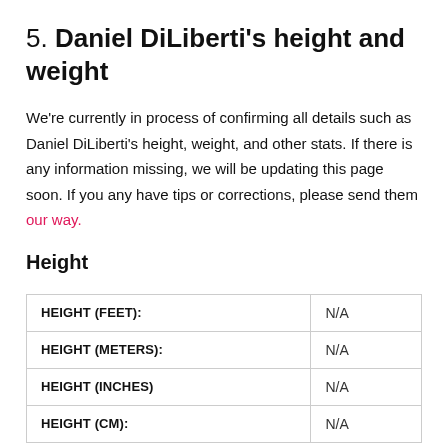5. Daniel DiLiberti's height and weight
We're currently in process of confirming all details such as Daniel DiLiberti's height, weight, and other stats. If there is any information missing, we will be updating this page soon. If you any have tips or corrections, please send them our way.
Height
|  |  |
| --- | --- |
| HEIGHT (FEET): | N/A |
| HEIGHT (METERS): | N/A |
| HEIGHT (INCHES) | N/A |
| HEIGHT (CM): | N/A |